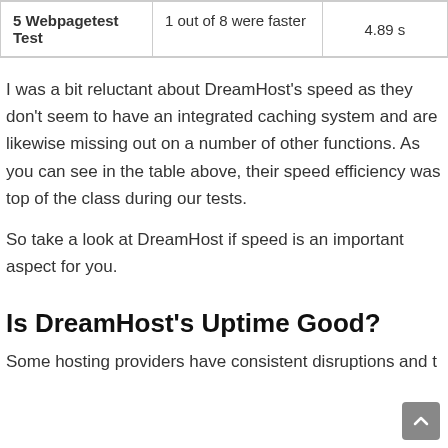| 5 Webpagetest Test | 1 out of 8 were faster | 4.89 s |
I was a bit reluctant about DreamHost's speed as they don't seem to have an integrated caching system and are likewise missing out on a number of other functions. As you can see in the table above, their speed efficiency was top of the class during our tests.
So take a look at DreamHost if speed is an important aspect for you.
Is DreamHost's Uptime Good?
Some hosting providers have consistent disruptions and t